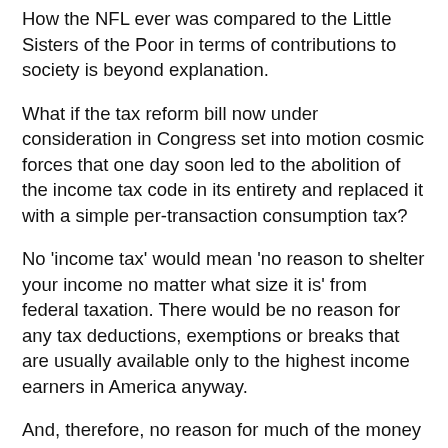How the NFL ever was compared to the Little Sisters of the Poor in terms of contributions to society is beyond explanation.
What if the tax reform bill now under consideration in Congress set into motion cosmic forces that one day soon led to the abolition of the income tax code in its entirety and replaced it with a simple per-transaction consumption tax?
No 'income tax' would mean 'no reason to shelter your income no matter what size it is' from federal taxation. There would be no reason for any tax deductions, exemptions or breaks that are usually available only to the highest income earners in America anyway.
And, therefore, no reason for much of the money that goes into campaign spending each year.
A 10% per transaction consumption tax would most likely bring in the same amount of revenue as the current income tax without all of the Rubik's Cube machinations and tax avoidance schemes we have concocted since 1913.